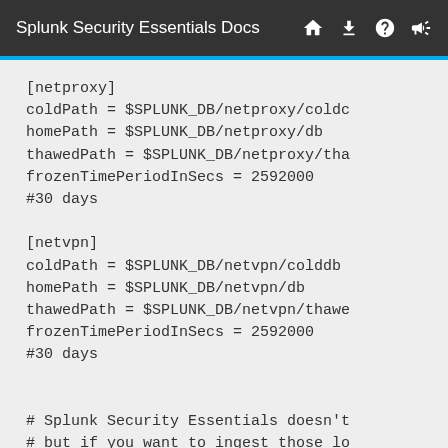Splunk Security Essentials Docs
[netproxy]
coldPath = $SPLUNK_DB/netproxy/coldd
homePath = $SPLUNK_DB/netproxy/db
thawedPath = $SPLUNK_DB/netproxy/tha
frozenTimePeriodInSecs = 2592000
#30 days

[netvpn]
coldPath = $SPLUNK_DB/netvpn/colddb
homePath = $SPLUNK_DB/netvpn/db
thawedPath = $SPLUNK_DB/netvpn/thawe
frozenTimePeriodInSecs = 2592000
#30 days


# Splunk Security Essentials doesn't
# but if you want to ingest those lo
# appwebint - Internal WebApp Access
# appwebext - External WebApp Access